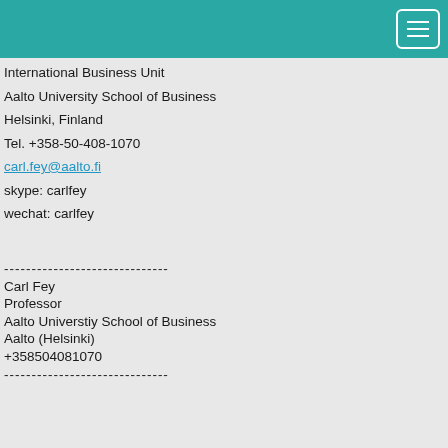International Business Unit
Aalto University School of Business
Helsinki, Finland
Tel. +358-50-408-1070
carl.fey@aalto.fi
skype: carlfey
wechat: carlfey
------------------------------
Carl Fey
Professor
Aalto Universtiy School of Business
Aalto (Helsinki)
+358504081070
------------------------------